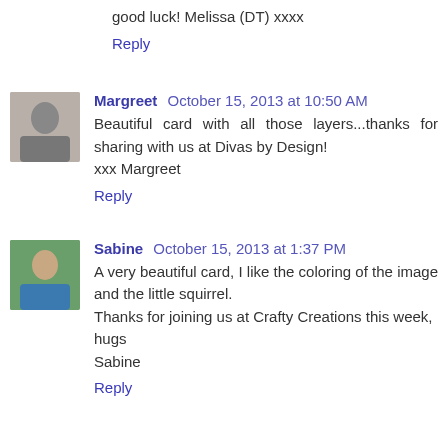good luck! Melissa (DT) xxxx
Reply
Margreet  October 15, 2013 at 10:50 AM
Beautiful card with all those layers...thanks for sharing with us at Divas by Design!
xxx Margreet
Reply
Sabine  October 15, 2013 at 1:37 PM
A very beautiful card, I like the coloring of the image and the little squirrel.
Thanks for joining us at Crafty Creations this week,
hugs
Sabine
Reply